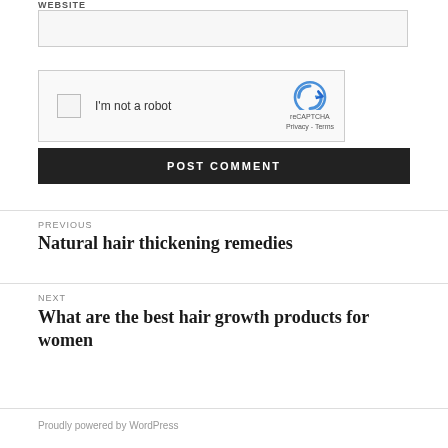WEBSITE
[Figure (screenshot): reCAPTCHA widget with checkbox labeled 'I'm not a robot' and reCAPTCHA logo with Privacy - Terms links]
POST COMMENT
PREVIOUS
Natural hair thickening remedies
NEXT
What are the best hair growth products for women
Proudly powered by WordPress